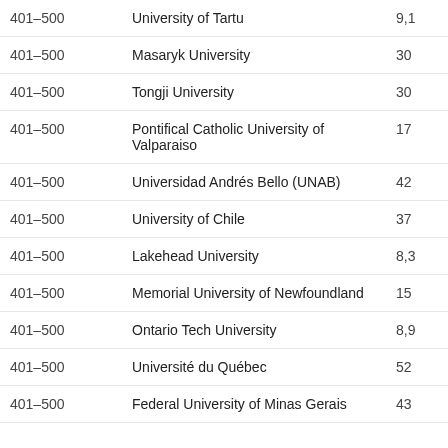| Rank | University | Score |
| --- | --- | --- |
| 401–500 | University of Tartu | 9,1 |
| 401–500 | Masaryk University | 30 |
| 401–500 | Tongji University | 30 |
| 401–500 | Pontifical Catholic University of Valparaiso | 17 |
| 401–500 | Universidad Andrés Bello (UNAB) | 42 |
| 401–500 | University of Chile | 37 |
| 401–500 | Lakehead University | 8,3 |
| 401–500 | Memorial University of Newfoundland | 15 |
| 401–500 | Ontario Tech University | 8,9 |
| 401–500 | Université du Québec | 52 |
| 401–500 | Federal University of Minas Gerais | 43 |